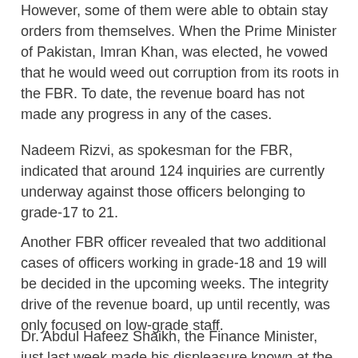However, some of them were able to obtain stay orders from themselves. When the Prime Minister of Pakistan, Imran Khan, was elected, he vowed that he would weed out corruption from its roots in the FBR. To date, the revenue board has not made any progress in any of the cases.
Nadeem Rizvi, as spokesman for the FBR, indicated that around 124 inquiries are currently underway against those officers belonging to grade-17 to 21.
Another FBR officer revealed that two additional cases of officers working in grade-18 and 19 will be decided in the upcoming weeks. The integrity drive of the revenue board, up until recently, was only focused on low-grade staff.
Dr. Abdul Hafeez Shaikh, the Finance Minister, just last week made his displeasure known at the lack of integrity displayed by the top management at the FBR.